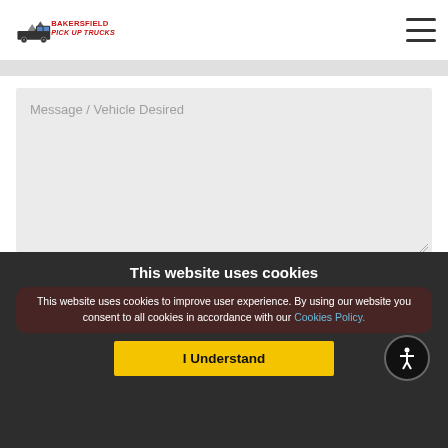Bakersfield Pick Up Trucks
Message / Vehicle Desired
This website uses cookies
This website uses cookies to improve user experience. By using our website you consent to all cookies in accordance with our Cookies Policy.
I Understand